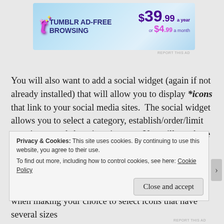[Figure (screenshot): Tumblr Ad-Free Browsing advertisement banner. $39.99 a year or $4.99 a month. Blue gradient background with Tumblr logo.]
You will also want to add a social widget (again if not already installed) that will allow you to display *icons that link to your social media sites.  The social widget allows you to select a category, establish/order/limit your icons, and show icon images.  You will see these in the top-right corner of my website.  There are so many great icons available, some free and some for purchase.  I purchased my custom chalkboard social media icons via Etsy seller ShinyMagic.  Be sure when making your choice to select icons that have several sizes
Privacy & Cookies: This site uses cookies. By continuing to use this website, you agree to their use.
To find out more, including how to control cookies, see here: Cookie Policy